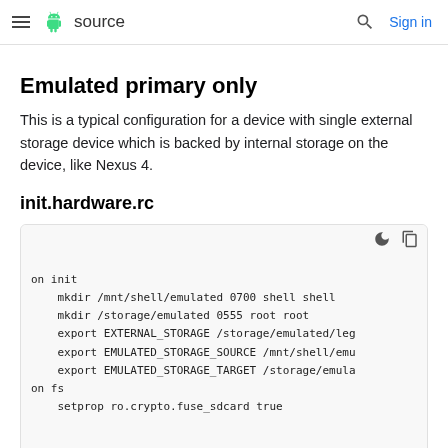≡  source  🔍  Sign in
Emulated primary only
This is a typical configuration for a device with single external storage device which is backed by internal storage on the device, like Nexus 4.
init.hardware.rc
on init
    mkdir /mnt/shell/emulated 0700 shell shell
    mkdir /storage/emulated 0555 root root
    export EXTERNAL_STORAGE /storage/emulated/leg
    export EMULATED_STORAGE_SOURCE /mnt/shell/emu
    export EMULATED_STORAGE_TARGET /storage/emula
on fs
    setprop ro.crypto.fuse_sdcard true